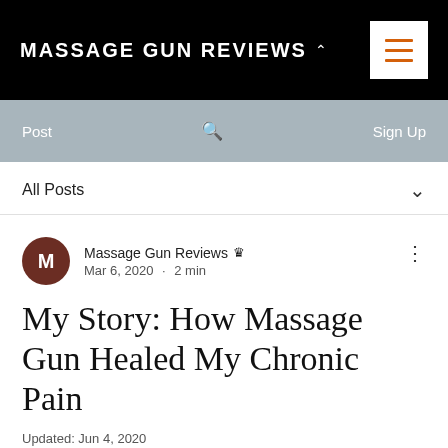MASSAGE GUN REVIEWS
Post  Sign Up
All Posts
Massage Gun Reviews  Mar 6, 2020 · 2 min
My Story: How Massage Gun Healed My Chronic Pain
Updated: Jun 4, 2020
When my back first began hurting I wasn't at all